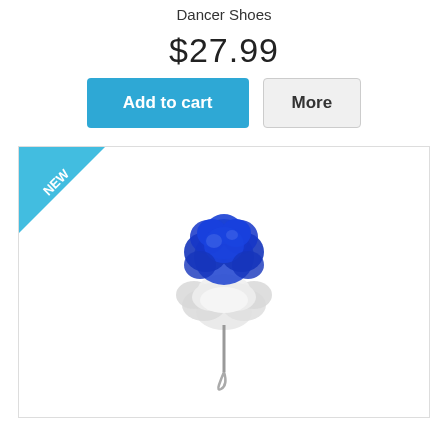Dancer Shoes
$27.99
Add to cart | More
[Figure (photo): Blue and white flower/pompom lapel pin accessory with silver pin, displayed on white background. Has a 'NEW' badge in the top-left corner of the product image box.]